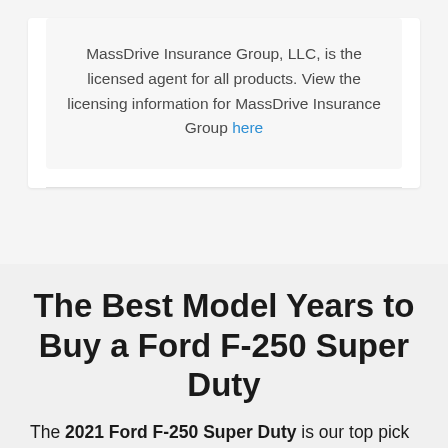MassDrive Insurance Group, LLC, is the licensed agent for all products. View the licensing information for MassDrive Insurance Group here
The Best Model Years to Buy a Ford F-250 Super Duty
The 2021 Ford F-250 Super Duty is our top pick